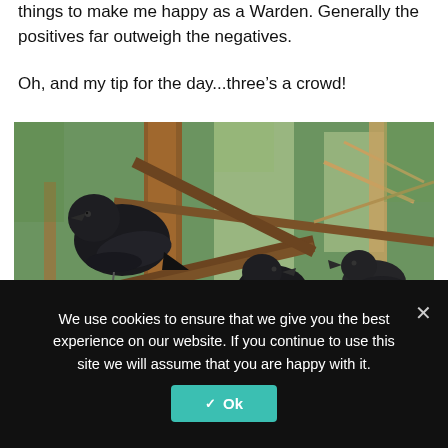things to make me happy as a Warden. Generally the positives far outweigh the negatives.
Oh, and my tip for the day...three's a crowd!
[Figure (photo): Three black crows/ravens perched on tree branches in a forest setting with pine trees in the background.]
We use cookies to ensure that we give you the best experience on our website. If you continue to use this site we will assume that you are happy with it.